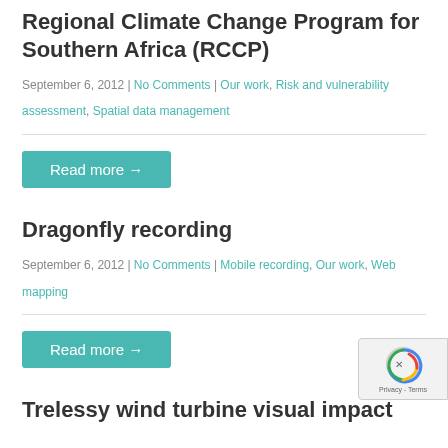Regional Climate Change Program for Southern Africa (RCCP)
September 6, 2012 | No Comments | Our work, Risk and vulnerability assessment, Spatial data management
Read more →
Dragonfly recording
September 6, 2012 | No Comments | Mobile recording, Our work, Web mapping
Read more →
Trelessy wind turbine visual impact